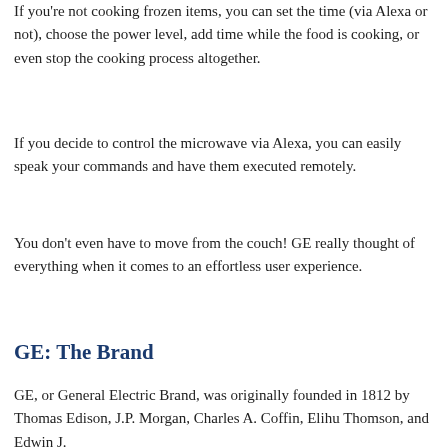If you're not cooking frozen items, you can set the time (via Alexa or not), choose the power level, add time while the food is cooking, or even stop the cooking process altogether.
If you decide to control the microwave via Alexa, you can easily speak your commands and have them executed remotely.
You don't even have to move from the couch! GE really thought of everything when it comes to an effortless user experience.
GE: The Brand
GE, or General Electric Brand, was originally founded in 1812 by Thomas Edison, J.P. Morgan, Charles A. Coffin, Elihu Thomson, and Edwin J.